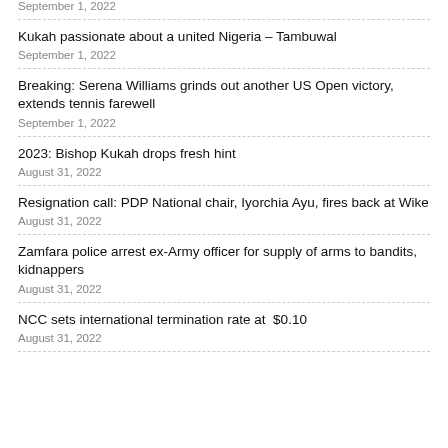September 1, 2022
Kukah passionate about a united Nigeria – Tambuwal
September 1, 2022
Breaking: Serena Williams grinds out another US Open victory, extends tennis farewell
September 1, 2022
2023: Bishop Kukah drops fresh hint
August 31, 2022
Resignation call: PDP National chair, Iyorchia Ayu, fires back at Wike
August 31, 2022
Zamfara police arrest ex-Army officer for supply of arms to bandits, kidnappers
August 31, 2022
NCC sets international termination rate at  $0.10
August 31, 2022